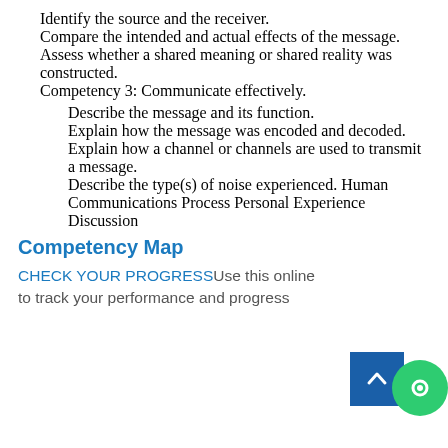Identify the source and the receiver.
Compare the intended and actual effects of the message.
Assess whether a shared meaning or shared reality was constructed.
Competency 3: Communicate effectively.
Describe the message and its function.
Explain how the message was encoded and decoded.
Explain how a channel or channels are used to transmit a message.
Describe the type(s) of noise experienced. Human Communications Process Personal Experience Discussion
Competency Map
CHECK YOUR PROGRESS Use this online to track your performance and progress